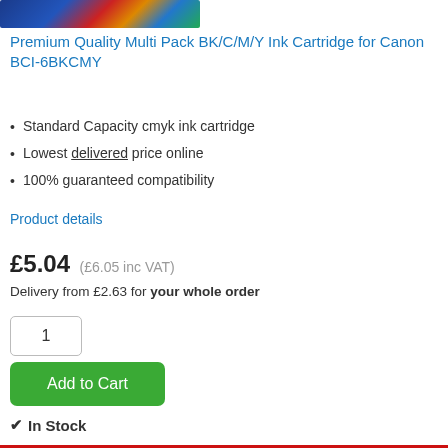[Figure (photo): Product image of multi-pack ink cartridges with blue, red, yellow, cyan colors visible]
Premium Quality Multi Pack BK/C/M/Y Ink Cartridge for Canon BCI-6BKCMY
Standard Capacity cmyk ink cartridge
Lowest delivered price online
100% guaranteed compatibility
Product details
£5.04 (£6.05 inc VAT)
Delivery from £2.63 for your whole order
1
Add to Cart
✔ In Stock
Cyan ink cartridges for the BJ-F870 printer
[Figure (photo): Red/cyan ink cartridge product image at bottom of page]